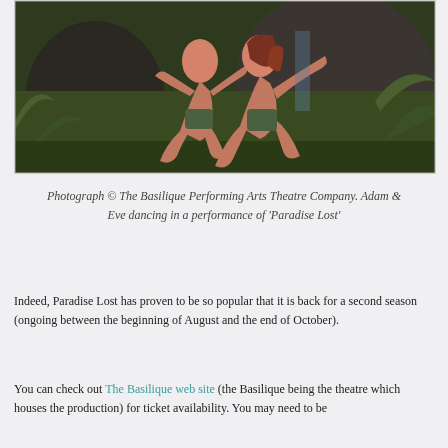[Figure (photo): Two dancers (Adam and Eve) performing in a jungle/forest setting, depicted in a painterly CGI style. A male and female figure dance together among ferns and rocks.]
Photograph © The Basilique Performing Arts Theatre Company. Adam & Eve dancing in a performance of 'Paradise Lost'
Indeed, Paradise Lost has proven to be so popular that it is back for a second season (ongoing between the beginning of August and the end of October).
You can check out The Basilique web site (the Basilique being the theatre which houses the production) for ticket availability. You may need to be...